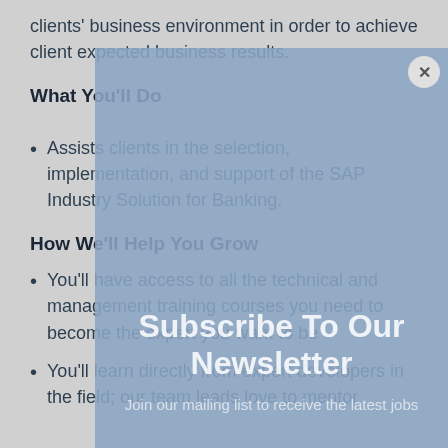clients' business environment in order to achieve client expected business results.
What You'll Do
Assists clients in the selection, implementation, and support of the SAP Industry Solution for Banking.
How We'll Help You Grow
You'll have access to all the technical and management training courses you need to become the expert you want to be
You'll learn directly from expert developers in the field; our team leads love to mentor
[Figure (screenshot): A modal popup overlay with blue-grey background showing 'Subscribe To Our Newsletter' title and subtitle 'Join our mailing list to receive the latest jobs', with a close (x) button in the top right corner.]